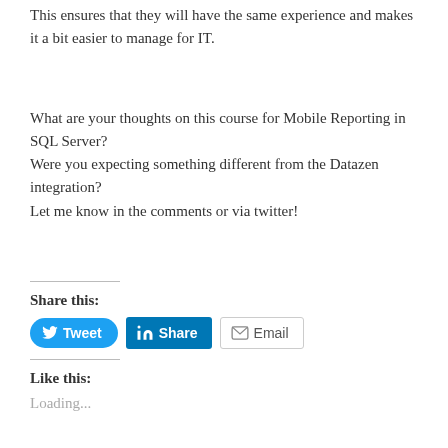This ensures that they will have the same experience and makes it a bit easier to manage for IT.
What are your thoughts on this course for Mobile Reporting in SQL Server?
Were you expecting something different from the Datazen integration?
Let me know in the comments or via twitter!
Share this:
[Figure (other): Social share buttons: Tweet (Twitter/blue rounded), Share (LinkedIn/blue square), Email (grey outlined)]
Like this:
Loading...